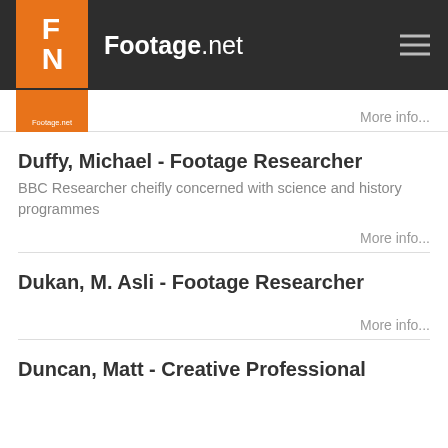Footage.net
Duffy, Michael - Footage Researcher
BBC Researcher cheifly concerned with science and history programmes
Dukan, M. Asli - Footage Researcher
Duncan, Matt - Creative Professional